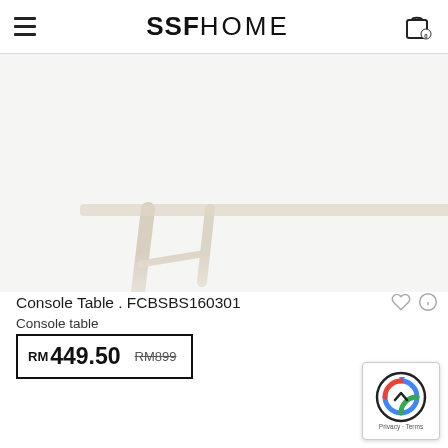SSF HOME
[Figure (photo): Close-up photo of the legs of a light wood-coloured console table on a white background, showing the angled wooden legs in a Scandinavian style.]
Console Table . FCBSBS160301
Console table
RM 449.50  RM899